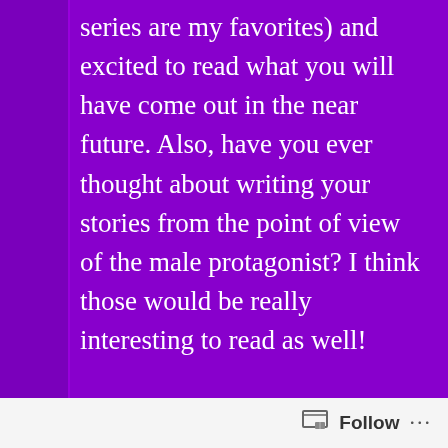series are my favorites) and excited to read what you will have come out in the near future. Also, have you ever thought about writing your stories from the point of view of the male protagonist? I think those would be really interesting to read as well!
Like
Reply
tiye
July 13, 2019 at 2:22 pm
Follow ···